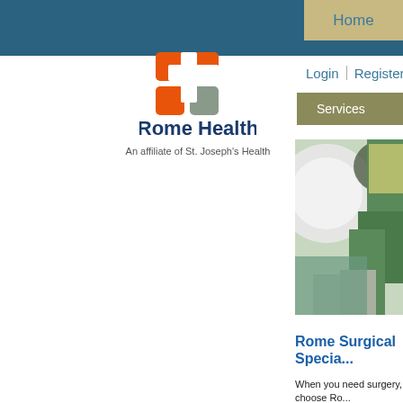[Figure (logo): Rome Health logo with orange and grey cross/plus symbol above the text 'Rome Health' in dark navy blue, with subtitle 'An affiliate of St. Joseph's Health']
Home
Login | Register
Services   Find a Physician
[Figure (photo): Close-up photo of a surgeon in green surgical scrubs and mask, appearing to perform surgery]
Rome Surgical Specia...
When you need surgery, choose Ro...